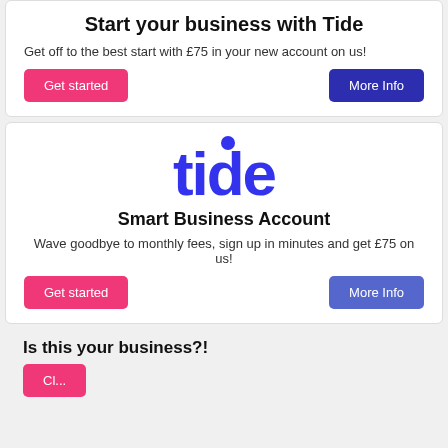Start your business with Tide
Get off to the best start with £75 in your new account on us!
[Figure (other): Pink 'Get started' button and dark blue 'More Info' button]
[Figure (logo): Tide logo in blue with dot above i]
Smart Business Account
Wave goodbye to monthly fees, sign up in minutes and get £75 on us!
[Figure (other): Pink 'Get started' button and medium blue 'More Info' button]
Is this your business?!
[Figure (other): Partially visible pink button at bottom]